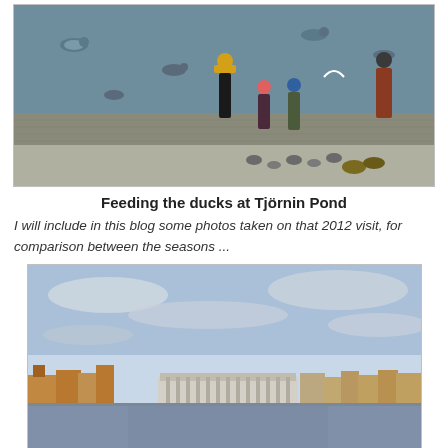[Figure (photo): People feeding ducks and pigeons at the edge of Tjörnin Pond. Adults and children stand on a cobblestone walkway beside a grey-green lake with ducks and seagulls. One adult wears a yellow jacket.]
Feeding the ducks at Tjörnin Pond
I will include in this blog some photos taken on that 2012 visit, for comparison between the seasons ...
[Figure (photo): Wide panoramic photo of Tjörnin Pond with the Reykjavik City Hall (a modern building on stilts over the water) and surrounding historic buildings reflected in the still water. Blue sky with clouds above.]